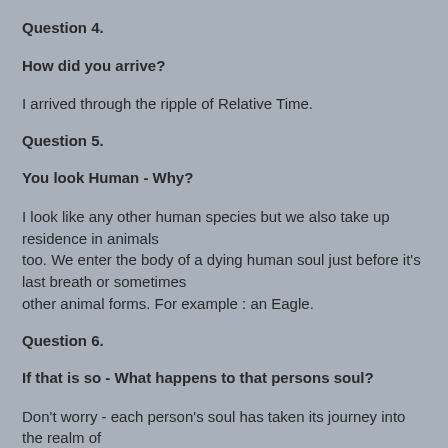Question 4.
How did you arrive?
I arrived through the ripple of Relative Time.
Question 5.
You look Human - Why?
I look like any other human species but we also take up residence in animals too. We enter the body of a dying human soul just before it's last breath or sometimes other animal forms. For example : an Eagle.
Question 6.
If that is so - What happens to that persons soul?
Don't worry - each person's soul has taken its journey into the realm of